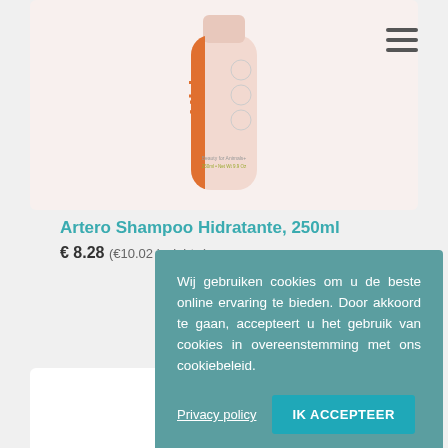[Figure (photo): Artero Shampoo Hidratante 250ml product bottle on a light pink background, partially cropped at top]
Artero Shampoo Hidratante, 250ml
€ 8.28 (€10.02 incl. btw)
Wij gebruiken cookies om u de beste online ervaring te bieden. Door akkoord te gaan, accepteert u het gebruik van cookies in overeenstemming met ons cookiebeleid.
Privacy policy
IK ACCEPTEER